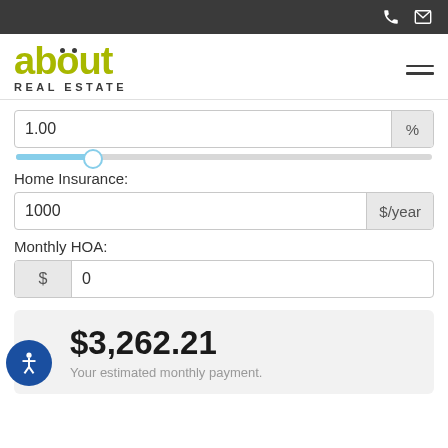[Figure (logo): About Real Estate logo with yellow-green 'about' text and 'REAL ESTATE' subtitle]
1.00 %
Home Insurance:
1000 $/year
Monthly HOA:
$ 0
$3,262.21
Your estimated monthly payment.